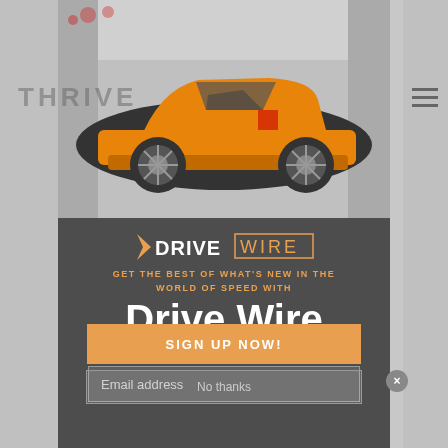[Figure (photo): Orange Lamborghini Aventador sports car photographed from the side, displayed at the top of a modal newsletter signup overlay on a gray background webpage]
THRIVE
[Figure (logo): Drive Wire logo: chevron/arrow followed by DRIVE in bold white and WIRE in outlined orange letters]
GET THE BEST OF WHAT'S NEW IN THE WORLD OF SPEED WITH
Drive Wire
Delivered every weekday.
Email address
SIGN UP NOW!
No thanks